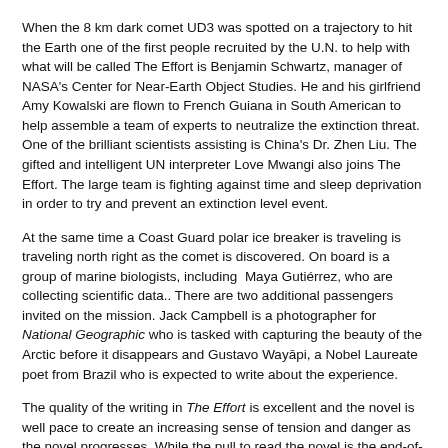When the 8 km dark comet UD3 was spotted on a trajectory to hit the Earth one of the first people recruited by the U.N. to help with what will be called The Effort is Benjamin Schwartz, manager of NASA's Center for Near-Earth Object Studies. He and his girlfriend Amy Kowalski are flown to French Guiana in South American to help assemble a team of experts to neutralize the extinction threat. One of the brilliant scientists assisting is China's Dr. Zhen Liu. The gifted and intelligent UN interpreter Love Mwangi also joins The Effort. The large team is fighting against time and sleep deprivation in order to try and prevent an extinction level event.
At the same time a Coast Guard polar ice breaker is traveling is traveling north right as the comet is discovered. On board is a group of marine biologists, including Maya Gutiérrez, who are collecting scientific data.. There are two additional passengers invited on the mission. Jack Campbell is a photographer for National Geographic who is tasked with capturing the beauty of the Arctic before it disappears and Gustavo Wayāpi, a Nobel Laureate poet from Brazil who is expected to write about the experience.
The quality of the writing in The Effort is excellent and the novel is well pace to create an increasing sense of tension and danger as the novel progresses. While the pull to read the novel is the end-of-the-world comet